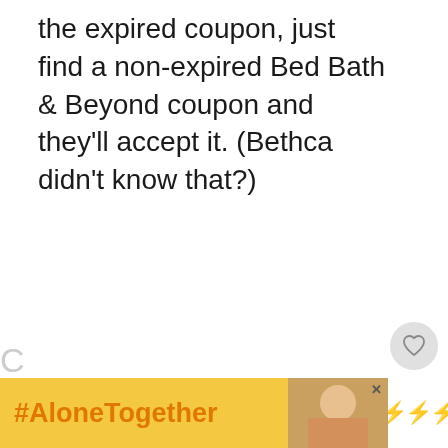the expired coupon, just find a non-expired Bed Bath & Beyond coupon and they'll accept it. (Bethca didn't know that?)
[Figure (other): Social media like/heart button UI element showing a heart icon]
11
[Figure (other): Social media share button UI element]
[Figure (other): What's Next widget with thumbnail image and text: The States That Make Y...]
[Figure (other): Advertisement banner with #AloneTogether hashtag in orange on yellow background, with a photo of a woman and a media logo]